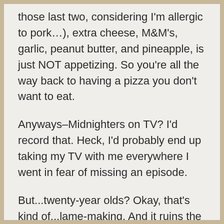those last two, considering I'm allergic to pork…), extra cheese, M&M's, garlic, peanut butter, and pineapple, is just NOT appetizing. So you're all the way back to having a pizza you don't want to eat.
Anyways–Midnighters on TV? I'd record that. Heck, I'd probably end up taking my TV with me everywhere I went in fear of missing an episode.
But...twenty-year olds? Okay, that's kind of...lame-making. And it ruins the whole highschool perspective that they all eminate. What else would they possibly be doing in